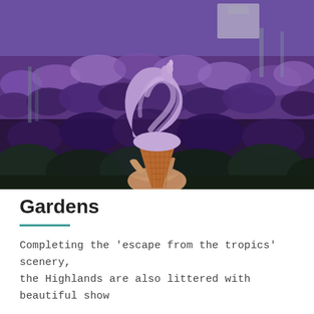[Figure (photo): A hand holding a purple/lavender soft-serve ice cream cone in a waffle cone, with a field of purple flowers (lavender) blurred in the background.]
Gardens
Completing the 'escape from the tropics' scenery, the Highlands are also littered with beautiful show